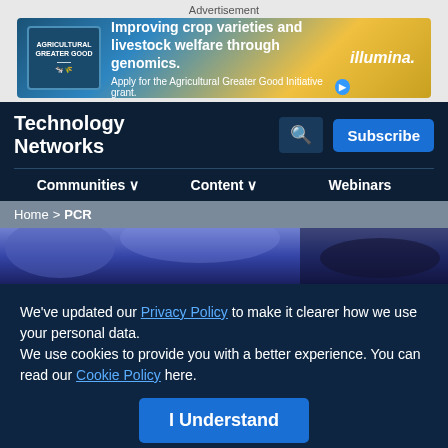Advertisement
[Figure (infographic): Illumina agricultural ad banner: 'Improving crop varieties and livestock welfare through genomics. Apply for the Agricultural Greater Good Initiative grant.']
Technology Networks
Communities ∨   Content ∨   Webinars
Home > PCR
[Figure (photo): Blue-toned hero image showing laboratory or PCR-related scene]
We've updated our Privacy Policy to make it clearer how we use your personal data.
We use cookies to provide you with a better experience. You can read our Cookie Policy here.
I Understand
PCR
Advertisement
[Figure (infographic): Opinionated Science podcast ad banner: 'Episode 02: Reacting to Bias in STEM' with 'Extraordinary Grace' and 'Listen to the Podcast' button]